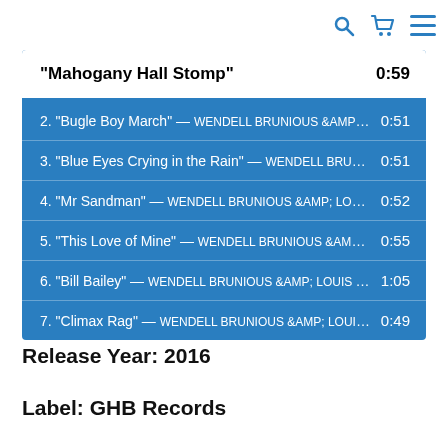Search Cart Menu
| Track | Duration |
| --- | --- |
| "Mahogany Hall Stomp" | 0:59 |
| 2. "Bugle Boy March" — WENDELL BRUNIOUS &AMP; L... | 0:51 |
| 3. "Blue Eyes Crying in the Rain" — WENDELL BRUNI... | 0:51 |
| 4. "Mr Sandman" — WENDELL BRUNIOUS &AMP; LOUIS... | 0:52 |
| 5. "This Love of Mine" — WENDELL BRUNIOUS &AMP; ... | 0:55 |
| 6. "Bill Bailey" — WENDELL BRUNIOUS &AMP; LOUIS NE... | 1:05 |
| 7. "Climax Rag" — WENDELL BRUNIOUS &AMP; LOUIS ... | 0:49 |
Release Year: 2016
Label: GHB Records